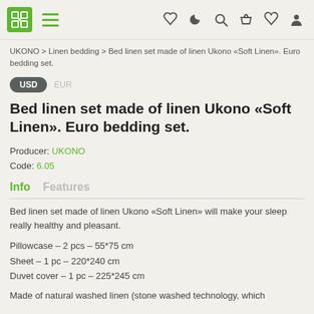UKONO navigation header with logo, hamburger menu, and icons (moon, search, basket, heart, user)
UKONO > Linen bedding > Bed linen set made of linen Ukono «Soft Linen». Euro bedding set.
USD  EUR
Bed linen set made of linen Ukono «Soft Linen». Euro bedding set.
Producer: UKONO
Code: 6.05
Info   Features
Bed linen set made of linen Ukono «Soft Linen» will make your sleep really healthy and pleasant.
Pillowcase – 2 pcs – 55*75 cm
Sheet – 1 pc – 220*240 cm
Duvet cover – 1 pc – 225*245 cm
Made of natural washed linen (stone washed technology, which